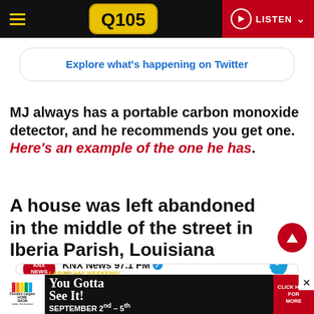Q105 | LISTEN
[Figure (screenshot): Twitter embed box with text: Explore what's happening on Twitter]
MJ always has a portable carbon monoxide detector, and he recommends you get one. Here's an example of the one he has.
A house was left abandoned in the middle of the street in Iberia Parish, Louisiana
[Figure (screenshot): Tweet embed showing KNX News 97.1 FM with verified badge and Twitter bird icon]
[Figure (screenshot): Ad banner: You Gotta See It! Florida's Largest Home Show. Labor Day Weekend September 2nd-5th Florida State Fairgrounds. Click Here For More.]